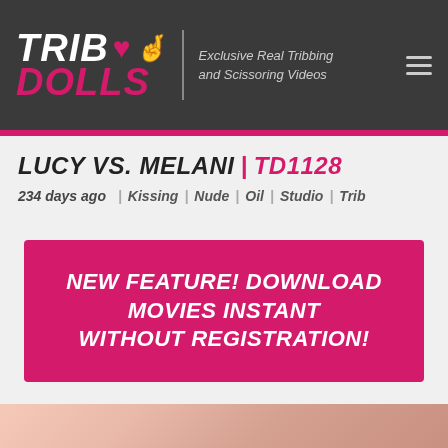TRIB DOLLS | Exclusive Real Tribbing and Scissoring Videos
LUCY VS. MELANI | TD1128
234 days ago | Kissing | Nude | Oil | Studio | Trib
NEW FEATURE! DOWNLOAD MOVIES INSTANT WITHOUT REGISTRATION!
[Figure (photo): Partial thumbnail image of video content at bottom of page]